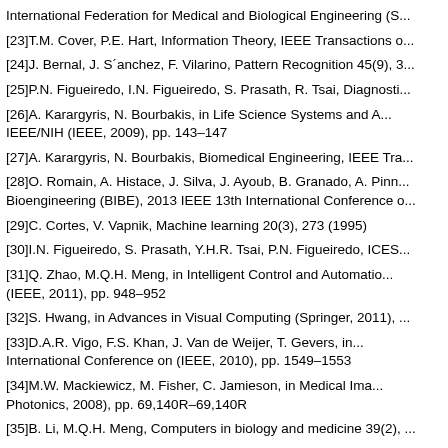International Federation for Medical and Biological Engineering (S...
[23]T.M. Cover, P.E. Hart, Information Theory, IEEE Transactions o...
[24]J. Bernal, J. S´anchez, F. Vilarino, Pattern Recognition 45(9), 3...
[25]P.N. Figueiredo, I.N. Figueiredo, S. Prasath, R. Tsai, Diagnosti...
[26]A. Karargyris, N. Bourbakis, in Life Science Systems and A... IEEE/NIH (IEEE, 2009), pp. 143–147
[27]A. Karargyris, N. Bourbakis, Biomedical Engineering, IEEE Tra...
[28]O. Romain, A. Histace, J. Silva, J. Ayoub, B. Granado, A. Pinn... Bioengineering (BIBE), 2013 IEEE 13th International Conference o...
[29]C. Cortes, V. Vapnik, Machine learning 20(3), 273 (1995)
[30]I.N. Figueiredo, S. Prasath, Y.H.R. Tsai, P.N. Figueiredo, ICES...
[31]Q. Zhao, M.Q.H. Meng, in Intelligent Control and Automatio... (IEEE, 2011), pp. 948–952
[32]S. Hwang, in Advances in Visual Computing (Springer, 2011), ...
[33]D.A.R. Vigo, F.S. Khan, J. Van de Weijer, T. Gevers, in... International Conference on (IEEE, 2010), pp. 1549–1553
[34]M.W. Mackiewicz, M. Fisher, C. Jamieson, in Medical Ima... Photonics, 2008), pp. 69,140R–69,140R
[35]B. Li, M.Q.H. Meng, Computers in biology and medicine 39(2), ...
[36]M. Liedlgruber, A. Uhl, Biomedical Engineering, IEEE Review...